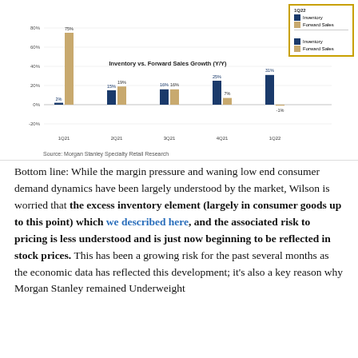[Figure (grouped-bar-chart): Inventory vs. Forward Sales Growth (Y/Y)]
Source: Morgan Stanley Specialty Retail Research
Bottom line: While the margin pressure and waning low end consumer demand dynamics have been largely understood by the market, Wilson is worried that the excess inventory element (largely in consumer goods up to this point) which we described here, and the associated risk to pricing is less understood and is just now beginning to be reflected in stock prices. This has been a growing risk for the past several months as the economic data has reflected this development; it's also a key reason why Morgan Stanley remained Underweight